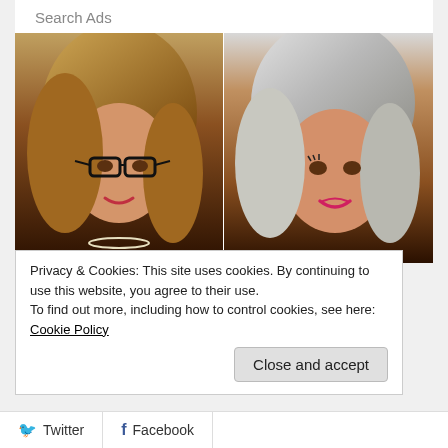Search Ads
[Figure (photo): Two women's portrait selfie photos side by side. Left: woman with brown wavy hair and black glasses, wearing a pearl necklace. Right: woman with gray and white hair, wearing pink/magenta lipstick.]
Privacy & Cookies: This site uses cookies. By continuing to use this website, you agree to their use.
To find out more, including how to control cookies, see here: Cookie Policy
Close and accept
Twitter   Facebook